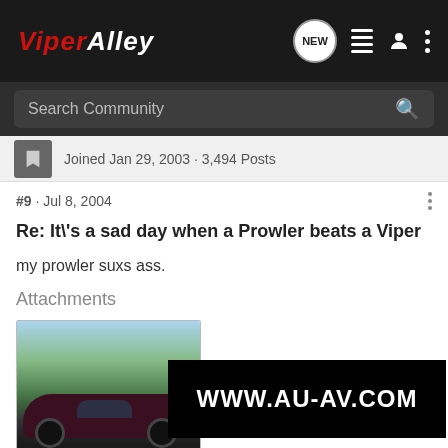ViperAlley - NEW
Search Community
Joined Jan 29, 2003 · 3,494 Posts
#9 · Jul 8, 2004
Re: It\'s a sad day when a Prowler beats a Viper
my prowler suxs ass.
Attachments
[Figure (photo): Photo of a dark purple Prowler sports car in a field with trees, with a banner overlay showing WWW.AU-AV.COM]